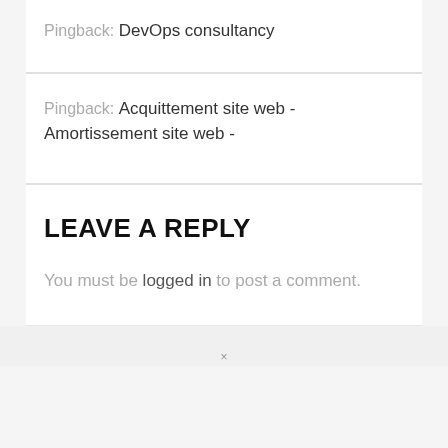Pingback: DevOps consultancy
Pingback: Acquittement site web - Amortissement site web -
LEAVE A REPLY
You must be logged in to post a comment.